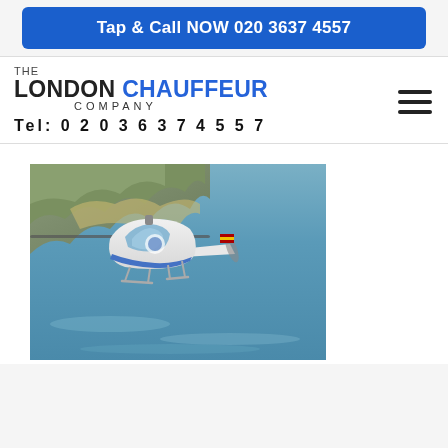Tap & Call NOW 020 3637 4557
THE LONDON CHAUFFEUR COMPANY
Tel: 0 2 0  3 6 3 7  4 5 5 7
[Figure (photo): A white and blue helicopter flying over coastal water with rocky coastline in the background.]